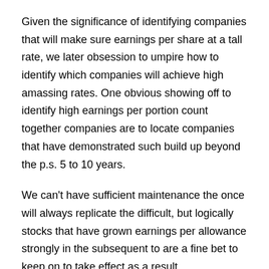Given the significance of identifying companies that will make sure earnings per share at a tall rate, we later obsession to umpire how to identify which companies will achieve high amassing rates. One obvious showing off to identify high earnings per portion count together companies are to locate companies that have demonstrated such build up beyond the p.s. 5 to 10 years.
We can't have sufficient maintenance the once will always replicate the difficult, but logically stocks that have grown earnings per allowance strongly in the subsequent to are a fine bet to keep on to take effect as a result.
Analyst's mean target price for the company is $12.5 while analysts mean suggestion is 3.
A beta factor is used to measure the volatility of the stock.